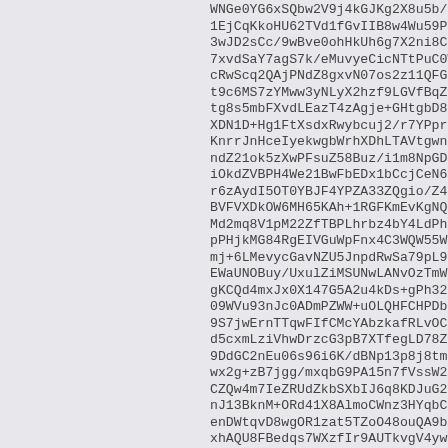Base64-encoded or similar alphanumeric data block, truncated on right side